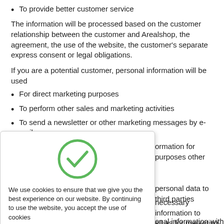To provide better customer service
The information will be processed based on the customer relationship between the customer and Arealshop, the agreement, the use of the website, the customer's separate express consent or legal obligations.
If you are a potential customer, personal information will be used
For direct marketing purposes
To perform other sales and marketing activities
To send a newsletter or other marketing messages by e-mail
ormation for purposes other
[Figure (infographic): Green circle checkmark icon indicating acceptance/confirmation]
We use cookies to ensure that we give you the best experience on our website. By continuing to use the website, you accept the use of cookies
personal data to third parties
necessary information to ell as for marketing purposes ing ban. Please check the
onal information with the e with the legislation on the
Ok
Cookie information